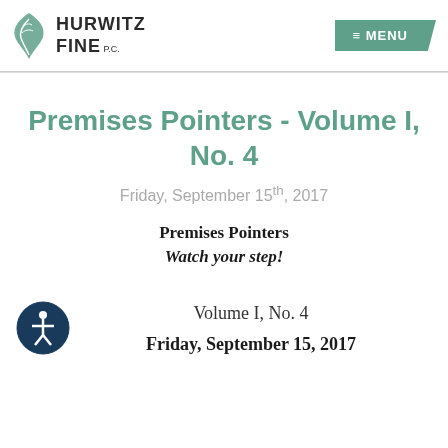[Figure (logo): Hurwitz Fine PC law firm logo with stylized leaf/tree icon and firm name text]
≡ MENU
Premises Pointers - Volume I, No. 4
Friday, September 15th, 2017
Premises Pointers
Watch your step!
[Figure (illustration): Circular accessibility icon showing a person figure]
Volume I, No. 4
Friday, September 15, 2017